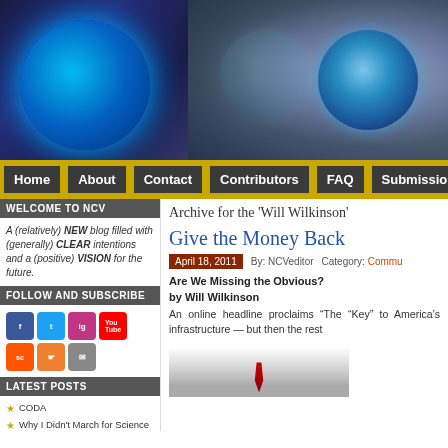[Figure (photo): Website header banner with blue glowing globes on dark purple/navy background and a close-up human eye with blue iris on the right side]
Home | About | Contact | Contributors | FAQ | Submissions
WELCOME TO NCV
A (relatively) NEW blog filled with (generally) CLEAR intentions and a (positive) VISION for the future.
FOLLOW AND SUBSCRIBE
[Figure (infographic): Social media icons: Facebook, Twitter, Instagram, YouTube, SoundCloud, RSS, Email]
LATEST POSTS
CODA
Why I Didn't March for Science
Beyond Redemptive Violence
Archive for the 'Will Wilkinson'
Give the Money Back
April 18, 2011  By: NCVeditor  Category: Commu...
Are We Missing the Obvious?
by Will Wilkinson
An online headline proclaims “The “Key” to America’s infrastructure — but then the rest...
[Figure (photo): Person in white shirt and red tie, partial view]